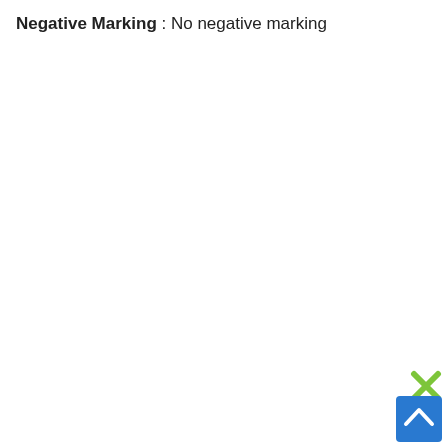Negative Marking : No negative marking
[Figure (other): Green X close button icon in bottom-right corner]
[Figure (other): Blue scroll-to-top button with white chevron arrow in bottom-right corner]